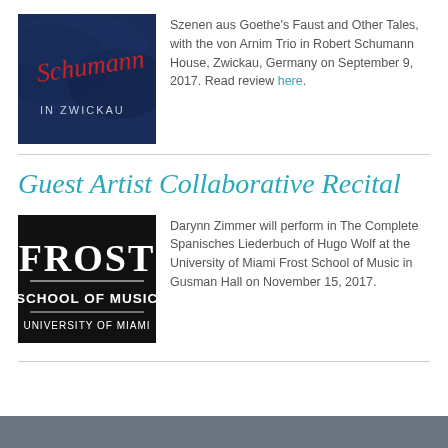[Figure (illustration): Schumann in Zwickau logo — dark blue background with red cursive 'Schumann' script and 'IN ZWICKAU' text]
Szenen aus Goethe's Faust and Other Tales, with the von Arnim Trio in Robert Schumann House, Zwickau, Germany on September 9, 2017. Read review here.
Guest Artist Collaborative Recital
[Figure (logo): Frost School of Music, University of Miami logo — black background with white text]
Darynn Zimmer will perform in The Complete Spanisches Liederbuch of Hugo Wolf at the University of Miami Frost School of Music in Gusman Hall on November 15, 2017.